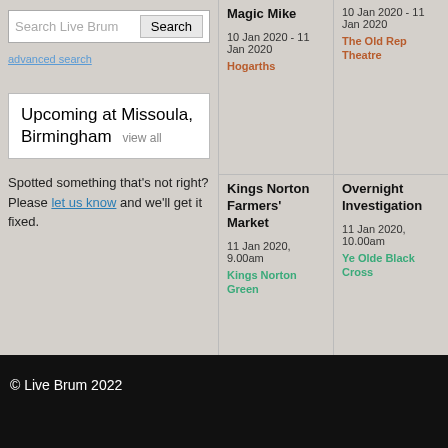Search Live Brum
advanced search
Upcoming at Missoula, Birmingham view all
Spotted something that's not right? Please let us know and we'll get it fixed.
Magic Mike
10 Jan 2020 - 11 Jan 2020
Hogarths
10 Jan 2020 - 11 Jan 2020
The Old Rep Theatre
Kings Norton Farmers' Market
11 Jan 2020, 9.00am
Kings Norton Green
Overnight Investigation
11 Jan 2020, 10.00am
Ye Olde Black Cross
© Live Brum 2022